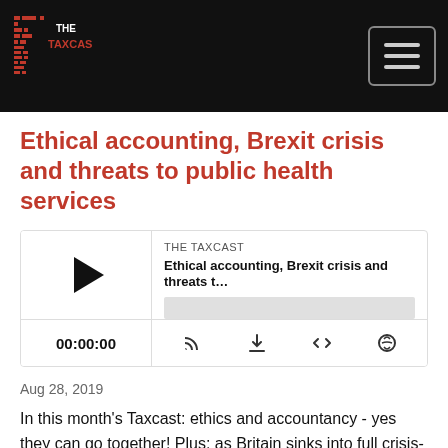THE TAXCAST
Ethical accounting, Brexit crisis and threats to public health services
[Figure (screenshot): Podcast audio player widget showing THE TAXCAST episode titled 'Ethical accounting, Brexit crisis and threats t...' with play button, progress bar, timestamp 00:00:00, and control icons including RSS, download, embed, and share.]
Aug 28, 2019
In this month's Taxcast: ethics and accountancy - yes they can go together! Plus: as Britain sinks into full crisis-mode over Brexit, we bring you unique analysis on some of the far-reaching consequences for the world, including threats to public health service models. And why does the new British government love